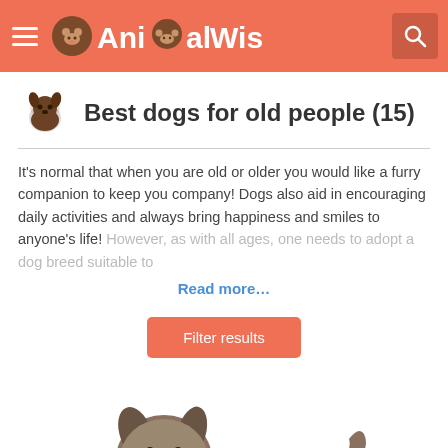AnimalWised
Best dogs for old people (15)
It's normal that when you are old or older you would like a furry companion to keep you company! Dogs also aid in encouraging daily activities and always bring happiness and smiles to anyone's life! However, as with all ages, one needs to adopt a dog breed suitable to...
Read more...
Filter results
[Figure (photo): A large shaggy grey/brown dog lying down with tongue out, on a white background]